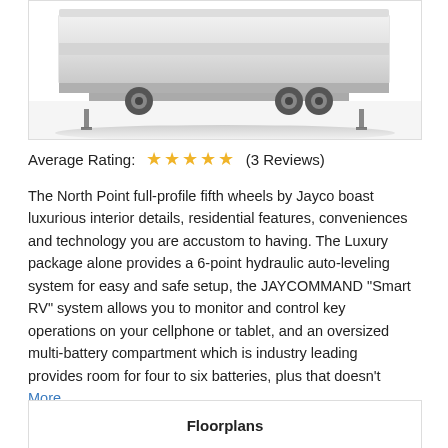[Figure (photo): Partial rear view of a white fifth-wheel RV/trailer on a white background]
Average Rating: ★★★★★ (3 Reviews)
The North Point full-profile fifth wheels by Jayco boast luxurious interior details, residential features, conveniences and technology you are accustom to having. The Luxury package alone provides a 6-point hydraulic auto-leveling system for easy and safe setup, the JAYCOMMAND "Smart RV" system allows you to monitor and control key operations on your cellphone or tablet, and an oversized multi-battery compartment which is industry leading provides room for four to six batteries, plus that doesn't More...
Floorplans